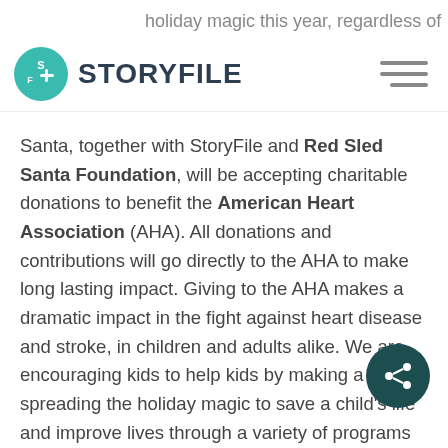holiday magic this year, regardless of
[Figure (logo): StoryFile logo: teal circular icon with 'SF' letters and the text 'STORYFILE' in dark navy bold font]
Santa, together with StoryFile and Red Sled Santa Foundation, will be accepting charitable donations to benefit the American Heart Association (AHA). All donations and contributions will go directly to the AHA to make long lasting impact. Giving to the AHA makes a dramatic impact in the fight against heart disease and stroke, in children and adults alike. We are encouraging kids to help kids by making a gift, spreading the holiday magic to save a child's life and improve lives through a variety of programs and initiatives.